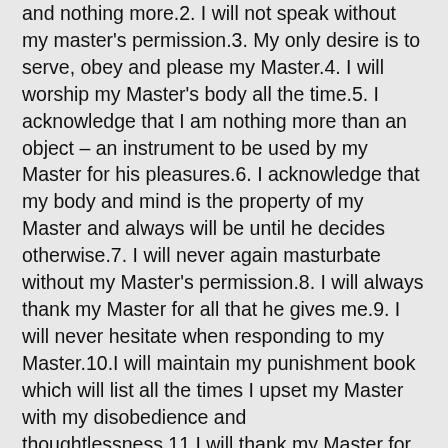and nothing more.2. I will not speak without my master's permission.3. My only desire is to serve, obey and please my Master.4. I will worship my Master's body all the time.5. I acknowledge that I am nothing more than an object – an instrument to be used by my Master for his pleasures.6. I acknowledge that my body and mind is the property of my Master and always will be until he decides otherwise.7. I will never again masturbate without my Master's permission.8. I will always thank my Master for all that he gives me.9. I will never hesitate when responding to my Master.10.I will maintain my punishment book which will list all the times I upset my Master with my disobedience and thoughtlessness.11.I will thank my Master for the discipline and punishments I receive from him and if I don't I will happily receive all the punishment twice more.12.I will always submit to my Master without hesitation.13.I shall wear the collar my Master gives me